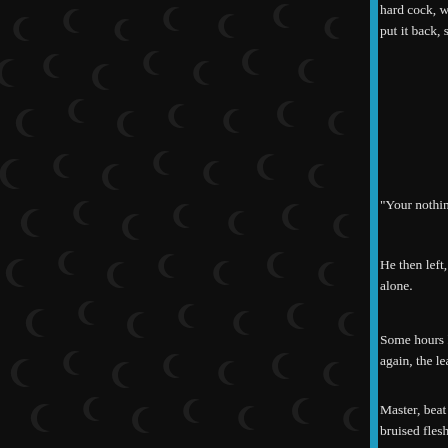[Figure (illustration): Dark background with repeating crescent moon pattern in dark grey, left two-thirds of page]
hard cock, watching me licking the bowl clean. Bits of food clung to my face. When it was empty, he filled it with water and put it back, so he could drink from it like a dog, just as i had eaten from it.
"Your nothing more than a fucking animal, aren't ya.
He then left, turning out the lights as he first shut the cage door then the wooden cellar door, i was now helpless scared and alone.
Some hours later Mark returned, he took me out of the cage to the urinal in the corner of the cellar and then strung me up again, the leather cuffs strapped tightly to each wrist, arms widespread as before.
Master, beat me, i started to cry and scream uncontrollably as Mark hand jabbed lightly but repeatedly into the already bruised flesh, i was hanging there like a side of beef